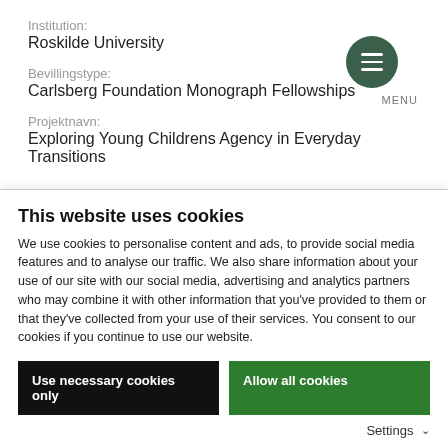Institution:
Roskilde University
Bevillingstype:
Carlsberg Foundation Monograph Fellowships
Projektnavn:
Exploring Young Childrens Agency in Everyday Transitions
2020   /   KR. 1.101.840
Lars Bo Kaspersen
This website uses cookies
We use cookies to personalise content and ads, to provide social media features and to analyse our traffic. We also share information about your use of our site with our social media, advertising and analytics partners who may combine it with other information that you've provided to them or that they've collected from your use of their services. You consent to our cookies if you continue to use our website.
Use necessary cookies only
Allow all cookies
Settings